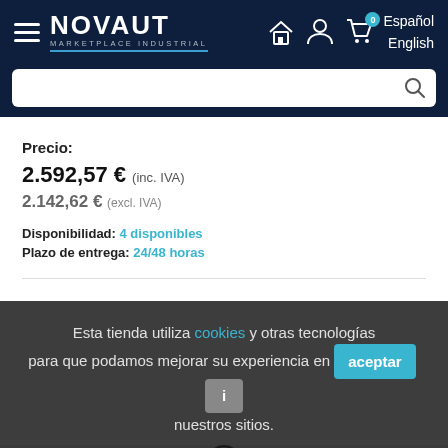NOVAUT MARKETPLACE INDUSTRIAL — Español / English
Precio:
2.592,57 € (inc. IVA)
2.142,62 € (excl. IVA)
Disponibilidad: 4 disponibles
Plazo de entrega: 24/48 horas
Esta tienda utiliza cookies y otras tecnologías para que podamos mejorar su experiencia en nuestros sitios.
[Figure (photo): Partial view of an industrial sensor/component at the bottom of the page]